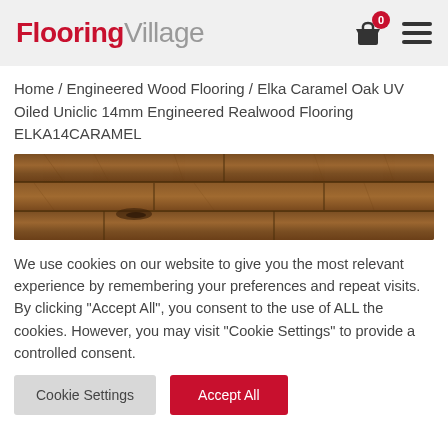Flooring Village
Home / Engineered Wood Flooring / Elka Caramel Oak UV Oiled Uniclic 14mm Engineered Realwood Flooring ELKA14CARAMEL
[Figure (photo): Close-up photograph of Elka Caramel Oak UV Oiled engineered wood flooring planks showing warm brown wood grain texture]
We use cookies on our website to give you the most relevant experience by remembering your preferences and repeat visits. By clicking "Accept All", you consent to the use of ALL the cookies. However, you may visit "Cookie Settings" to provide a controlled consent.
Cookie Settings | Accept All